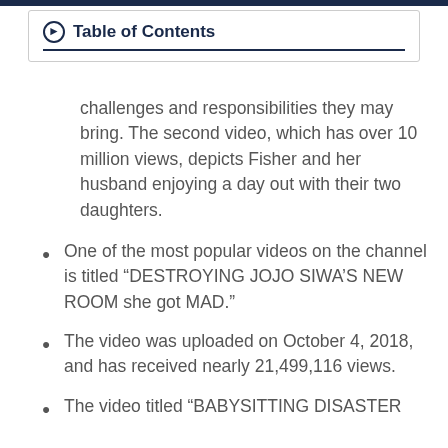Table of Contents
challenges and responsibilities they may bring. The second video, which has over 10 million views, depicts Fisher and her husband enjoying a day out with their two daughters.
One of the most popular videos on the channel is titled “DESTROYING JOJO SIWA’S NEW ROOM she got MAD.”
The video was uploaded on October 4, 2018, and has received nearly 21,499,116 views.
The video titled “BABYSITTING DISASTER